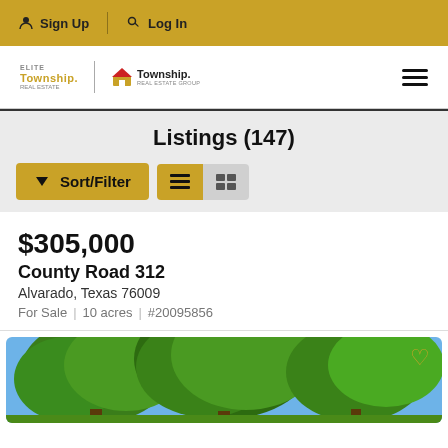Sign Up  Log In
[Figure (logo): Elite Township and Township real estate logos with hamburger menu icon]
Listings (147)
Sort/Filter button and view toggle (list view active, map view inactive)
$305,000
County Road 312
Alvarado, Texas 76009
For Sale  |  10 acres  |  #20095856
[Figure (photo): Property listing photo showing large green oak trees against a blue sky]